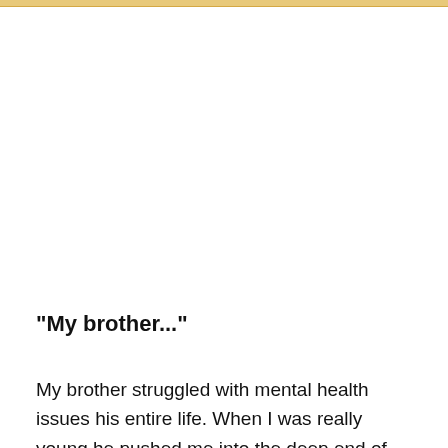"My brother..."
My brother struggled with mental health issues his entire life. When I was really young he pushed me into the deep end of the pool